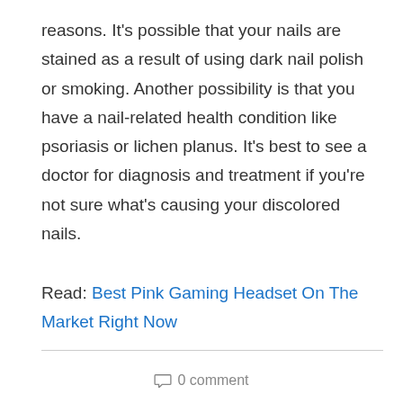reasons. It's possible that your nails are stained as a result of using dark nail polish or smoking. Another possibility is that you have a nail-related health condition like psoriasis or lichen planus. It's best to see a doctor for diagnosis and treatment if you're not sure what's causing your discolored nails.
Read: Best Pink Gaming Headset On The Market Right Now
0 comment